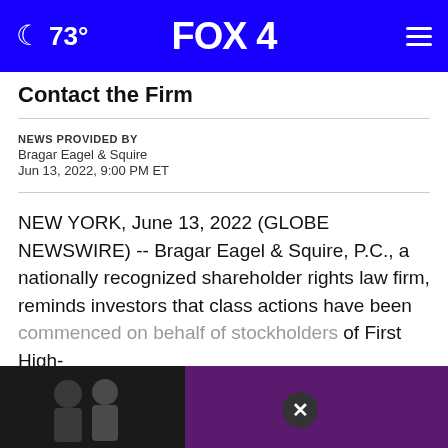🌙 73° FOX 4 ☰
Contact the Firm
NEWS PROVIDED BY
Bragar Eagel & Squire
Jun 13, 2022, 9:00 PM ET
NEW YORK, June 13, 2022 (GLOBE NEWSWIRE) -- Bragar Eagel & Squire, P.C., a nationally recognized shareholder rights law firm, reminds investors that class actions have been commenced on behalf of stockholders of First High-[...] SE:
[Figure (photo): Advertisement overlay with two men and purple background, with close (X) button]